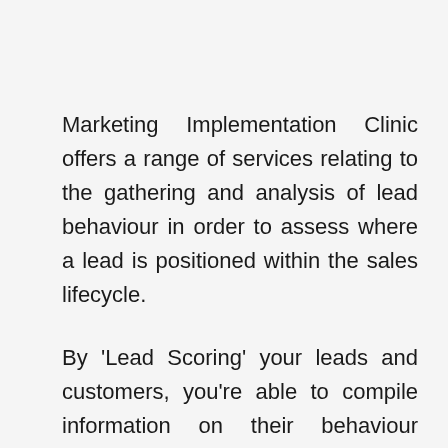Marketing Implementation Clinic offers a range of services relating to the gathering and analysis of lead behaviour in order to assess where a lead is positioned within the sales lifecycle.
By 'Lead Scoring' your leads and customers, you're able to compile information on their behaviour across different channels, which can in turn